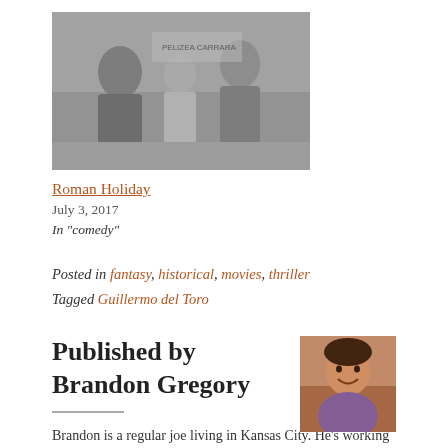[Figure (photo): Black and white movie still showing three people on a street scene, from Roman Holiday]
Roman Holiday
July 3, 2017
In "comedy"
Posted in fantasy, historical, movies, thriller
Tagged Guillermo del Toro
Published by Brandon Gregory
[Figure (photo): Author photo of Brandon Gregory, a smiling person indoors]
Brandon is a regular joe living in Kansas City. He's working on watching and reviewing some of the best